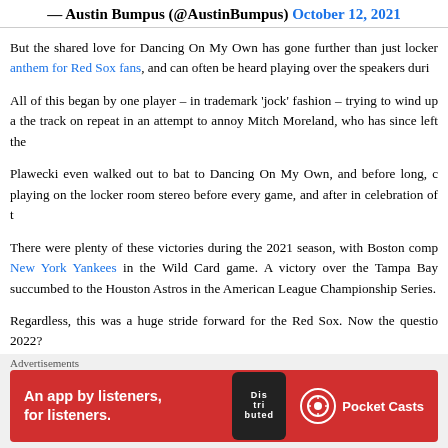— Austin Bumpus (@AustinBumpus) October 12, 2021
But the shared love for Dancing On My Own has gone further than just locker anthem for Red Sox fans, and can often be heard playing over the speakers duri
All of this began by one player – in trademark 'jock' fashion – trying to wind up a the track on repeat in an attempt to annoy Mitch Moreland, who has since left the
Plawecki even walked out to bat to Dancing On My Own, and before long, c playing on the locker room stereo before every game, and after in celebration of t
There were plenty of these victories during the 2021 season, with Boston comp New York Yankees in the Wild Card game. A victory over the Tampa Bay succumbed to the Houston Astros in the American League Championship Series.
Regardless, this was a huge stride forward for the Red Sox. Now the questio 2022?
Share this:
[Figure (other): Row of social media share icon circles (Twitter, Facebook, light blue, Pinterest/red, WhatsApp/green, dark blue, teal, pink/Instagram, LinkedIn, gray, minus, X/close)]
Advertisements
[Figure (other): Pocket Casts advertisement banner: red background with phone showing 'Dis tri buted' text, tagline 'An app by listeners, for listeners.' and Pocket Casts logo]